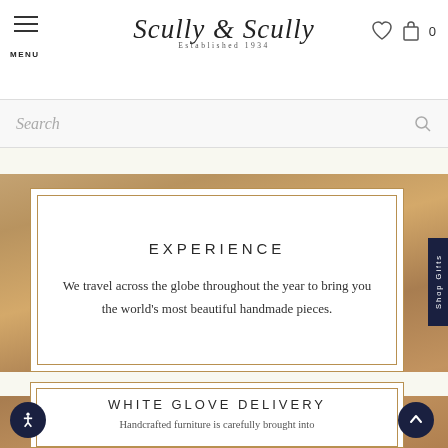MENU | Scully & Scully Established 1934 | ♡ 🛍 0
Search
EXPERIENCE
We travel across the globe throughout the year to bring you the world's most beautiful handmade pieces.
WHITE GLOVE DELIVERY
Handcrafted furniture is carefully brought into